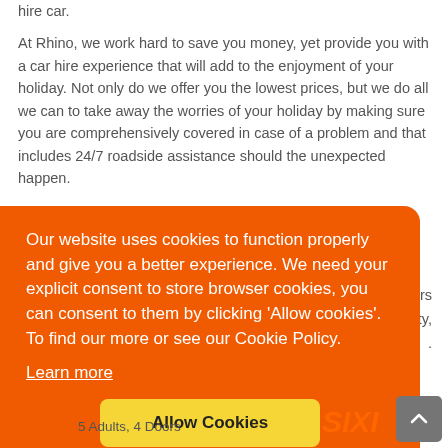hire car.
At Rhino, we work hard to save you money, yet provide you with a car hire experience that will add to the enjoyment of your holiday. Not only do we offer you the lowest prices, but we do all we can to take away the worries of your holiday by making sure you are comprehensively covered in case of a problem and that includes 24/7 roadside assistance should the unexpected happen.
...ellers ...e City,
[Figure (screenshot): Cookie consent banner overlay with orange background. Text reads: 'Our website uses cookies to function properly and give you a better experience. We need your explicit consent to store browser cookies, you can consent to them by clicking Allow cookies. To find our more or see our Cookie Policy.' With a 'Learn more' underlined link and a yellow 'Allow Cookies' button.]
5 Adults, 4 Doors
[Figure (logo): Sixt car rental logo in orange italic bold text]